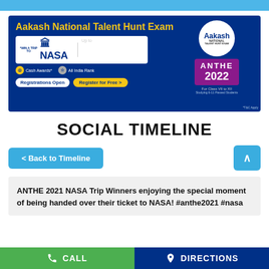[Figure (illustration): Aakash National Talent Hunt Exam advertisement banner. Blue background with yellow title text, NASA trip prize, 100% scholarship offer, ANTHE 2022 logo, registration open button, for Class VII to XII.]
SOCIAL TIMELINE
< Back to Timeline
ANTHE 2021 NASA Trip Winners enjoying the special moment of being handed over their ticket to NASA! #anthe2021 #nasa
CALL    DIRECTIONS